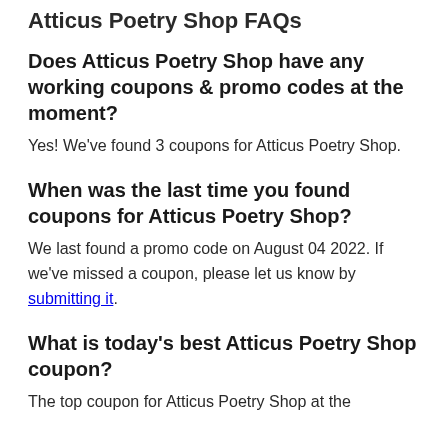Atticus Poetry Shop FAQs
Does Atticus Poetry Shop have any working coupons & promo codes at the moment?
Yes! We've found 3 coupons for Atticus Poetry Shop.
When was the last time you found coupons for Atticus Poetry Shop?
We last found a promo code on August 04 2022. If we've missed a coupon, please let us know by submitting it.
What is today's best Atticus Poetry Shop coupon?
The top coupon for Atticus Poetry Shop at the moment is Receive 15% Off Storewide...